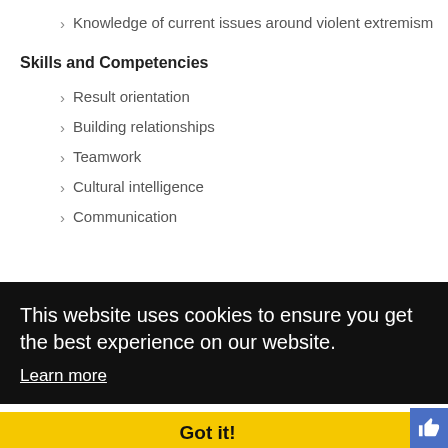Knowledge of current issues around violent extremism
Skills and Competencies
Result orientation
Building relationships
Teamwork
Cultural intelligence
Communication
This website uses cookies to ensure you get the best experience on our website.
Learn more
Got it!